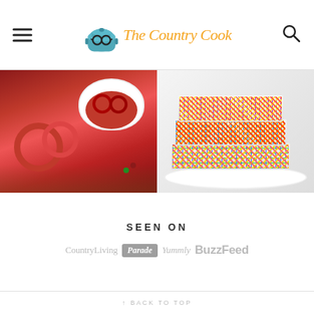The Country Cook
[Figure (photo): Two food photos side by side: left shows red chocolate-covered pretzels in and around a white bowl on a wooden surface; right shows a stack of colorful Fruity Pebbles rice crispy treats on a white plate]
SEEN ON
[Figure (logo): Brand logos: CountryLiving, Parade, Yummly, BuzzFeed]
↑ BACK TO TOP